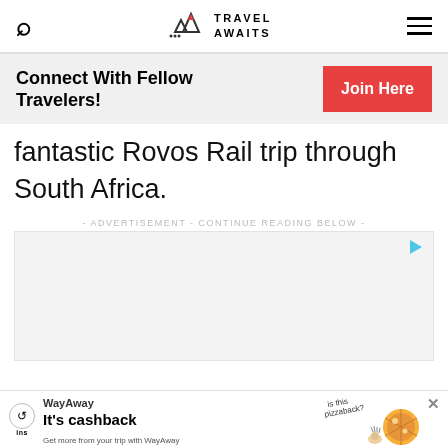Travel Awaits
Connect With Fellow Travelers!
fantastic Rovos Rail trip through South Africa.
- ADVERTISEMENT - CONTINUE READING BELOW -
[Figure (other): Advertisement placeholder box with play icon]
[Figure (other): WayAway cashback advertisement banner at bottom of page with pizza illustration]